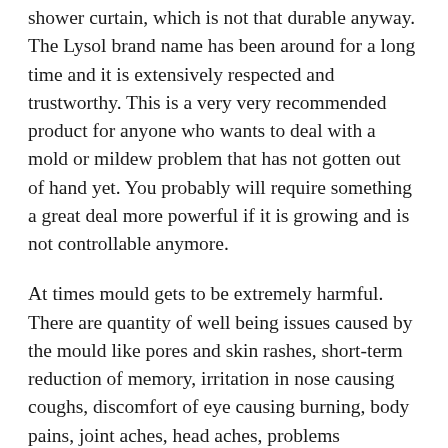shower curtain, which is not that durable anyway. The Lysol brand name has been around for a long time and it is extensively respected and trustworthy. This is a very very recommended product for anyone who wants to deal with a mold or mildew problem that has not gotten out of hand yet. You probably will require something a great deal more powerful if it is growing and is not controllable anymore.
At times mould gets to be extremely harmful. There are quantity of well being issues caused by the mould like pores and skin rashes, short-term reduction of memory, irritation in nose causing coughs, discomfort of eye causing burning, body pains, joint aches, head aches, problems associated to respiration, issue with your immune method, triggering the allergies and so on. So, it is very essential that you should treat mould extremely seriously if you want to reside fortunately.